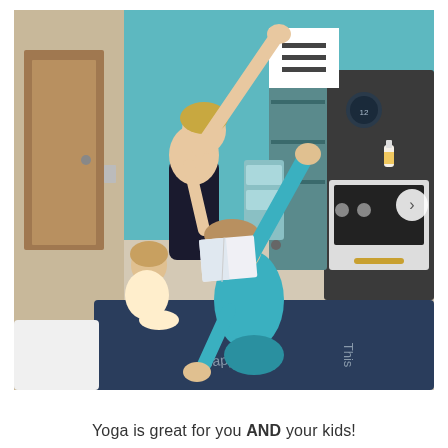[Figure (photo): A woman in a black tank top doing a yoga side stretch with one arm raised, sitting on a floor with two young children in a colorful playroom. The child in front wears teal/blue pajamas and mimics the stretch pose. There is a toy kitchen and shelving in the background with teal walls. A hamburger-menu icon appears in a white box in the upper right of the photo, and a right-arrow navigation button on the right edge.]
Yoga is great for you AND your kids!